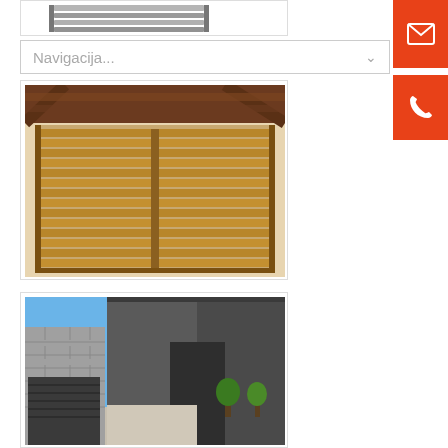[Figure (photo): Partial view of a metal/industrial product (roller shutter or similar) with grey horizontal slats against a white background.]
Navigacija...
[Figure (photo): Wooden pergola with brown horizontal roller shutter/garage door underneath, installed in an outdoor setting.]
[Figure (photo): Modern residential building exterior with grey roller garage doors and stone cladding, blue sky background.]